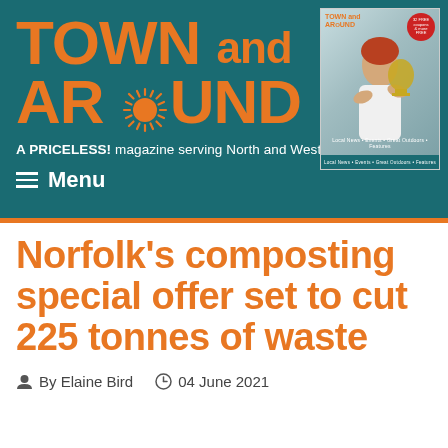TOWN and AROUND — A PRICELESS! magazine serving North and West Norfolk
[Figure (screenshot): Magazine cover thumbnail showing a woman holding a trophy, with Town and Around logo and a red circular badge]
≡  Menu
Norfolk's composting special offer set to cut 225 tonnes of waste
By Elaine Bird   04 June 2021